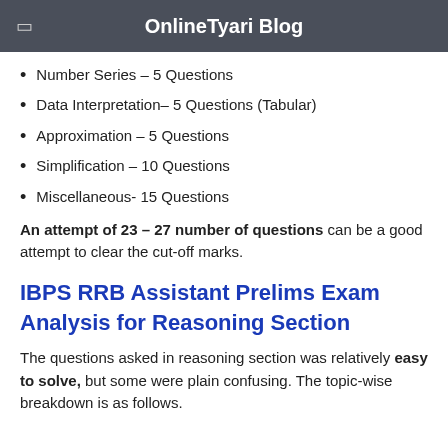OnlineTyari Blog
Number Series – 5 Questions
Data Interpretation– 5 Questions (Tabular)
Approximation – 5 Questions
Simplification – 10 Questions
Miscellaneous- 15 Questions
An attempt of 23 – 27 number of questions can be a good attempt to clear the cut-off marks.
IBPS RRB Assistant Prelims Exam Analysis for Reasoning Section
The questions asked in reasoning section was relatively easy to solve, but some were plain confusing. The topic-wise breakdown is as follows.